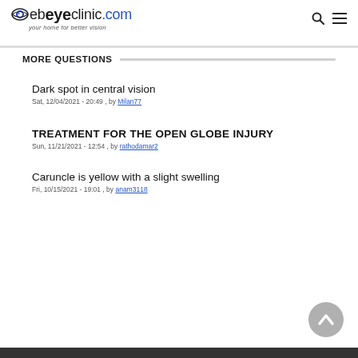webeyeclinic.com — your home for better vision
MORE QUESTIONS
Dark spot in central vision
Sat, 12/04/2021 - 20:49 , by Milan77
TREATMENT FOR THE OPEN GLOBE INJURY
Sun, 11/21/2021 - 12:54 , by rathodamar2
Caruncle is yellow with a slight swelling
Fri, 10/15/2021 - 19:01 , by anam3118